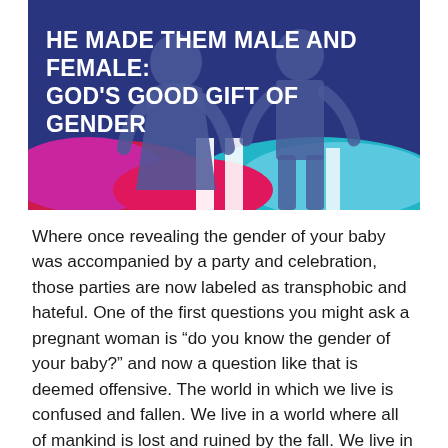[Figure (illustration): Hero image with dark blue/navy background showing silhouettes of a female and male figure (gender symbols), with colorful pink, red, teal, and blue wavy/layered shapes at the bottom of the image.]
HE MADE THEM MALE AND FEMALE: GOD'S GOOD GIFT OF GENDER
Where once revealing the gender of your baby was accompanied by a party and celebration, those parties are now labeled as transphobic and hateful. One of the first questions you might ask a pregnant woman is “do you know the gender of your baby?” and now a question like that is deemed offensive. The world in which we live is confused and fallen. We live in a world where all of mankind is lost and ruined by the fall. We live in a world where men and women have “exchanged the truth about God for a lie (Rom 1:25).” People with their hearts so hardened and minds so darkened that for some it has become difficult to see some of the most well...